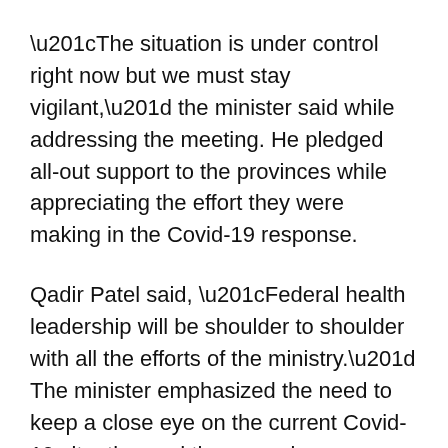“The situation is under control right now but we must stay vigilant,” the minister said while addressing the meeting. He pledged all-out support to the provinces while appreciating the effort they were making in the Covid-19 response.
Qadir Patel said, “Federal health leadership will be shoulder to shoulder with all the efforts of the ministry.” The minister emphasized the need to keep a close eye on the current Covid-19 situation and the emerging new variants of concern.
He said, “All concerned teams and officials to be on alert.” He assured full support of the federal government for any help that may be needed and appreciated the efforts made in vaccination and handling of the